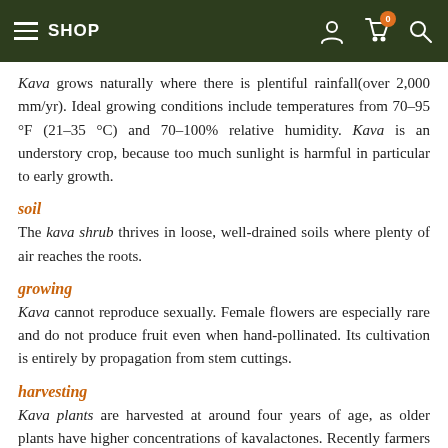SHOP
Kava grows naturally where there is plentiful rainfall(over 2,000 mm/yr). Ideal growing conditions include temperatures from 70–95 °F (21–35 °C) and 70–100% relative humidity. Kava is an understory crop, because too much sunlight is harmful in particular to early growth.
soil
The kava shrub thrives in loose, well-drained soils where plenty of air reaches the roots.
growing
Kava cannot reproduce sexually. Female flowers are especially rare and do not produce fruit even when hand-pollinated. Its cultivation is entirely by propagation from stem cuttings.
harvesting
Kava plants are harvested at around four years of age, as older plants have higher concentrations of kavalactones. Recently farmers have been harvesting younger and younger plants, some as young as 18 months. The kava rhizome is harvest, peeled, and dried.